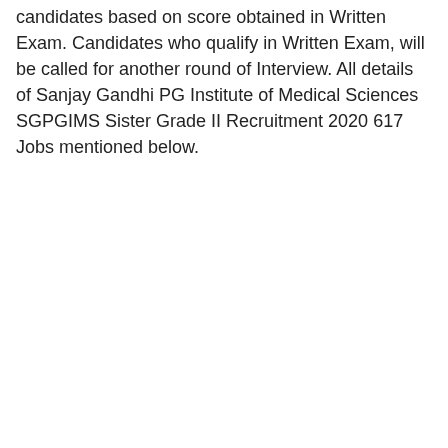candidates based on score obtained in Written Exam. Candidates who qualify in Written Exam, will be called for another round of Interview. All details of Sanjay Gandhi PG Institute of Medical Sciences SGPGIMS Sister Grade II Recruitment 2020 617 Jobs mentioned below.